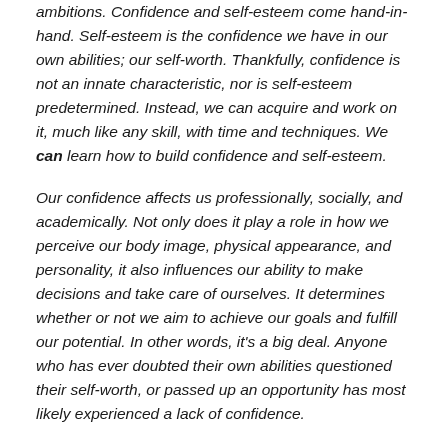ambitions. Confidence and self-esteem come hand-in-hand. Self-esteem is the confidence we have in our own abilities; our self-worth. Thankfully, confidence is not an innate characteristic, nor is self-esteem predetermined. Instead, we can acquire and work on it, much like any skill, with time and techniques. We can learn how to build confidence and self-esteem.
Our confidence affects us professionally, socially, and academically. Not only does it play a role in how we perceive our body image, physical appearance, and personality, it also influences our ability to make decisions and take care of ourselves. It determines whether or not we aim to achieve our goals and fulfill our potential. In other words, it's a big deal. Anyone who has ever doubted their own abilities questioned their self-worth, or passed up an opportunity has most likely experienced a lack of confidence.